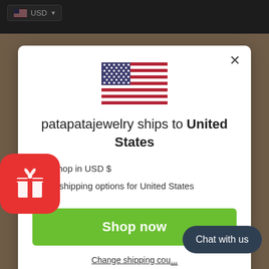[Figure (screenshot): E-commerce website shipping destination modal popup showing US flag, 'patapatajewelry ships to United States', shop in USD options, green Shop now button, Change shipping country link, red gift badge widget, and dark Chat with us button overlay]
USD
patapatajewelry ships to United States
Shop in USD $
Get shipping options for United States
Shop now
Change shipping cou...
Chat with us